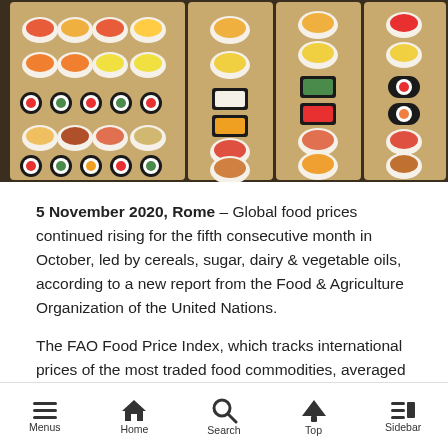[Figure (photo): Multiple trays of assorted Japanese sushi including nigiri, rolls, and decorative arrangements viewed from above]
5 November 2020, Rome – Global food prices continued rising for the fifth consecutive month in October, led by cereals, sugar, dairy & vegetable oils, according to a new report from the Food & Agriculture Organization of the United Nations.
The FAO Food Price Index, which tracks international prices of the most traded food commodities, averaged 100.9 points in October 2020, up 3.1 percent from September & 6.0 percent above its value in October 2019
Menus  Home  Search  Top  Sidebar